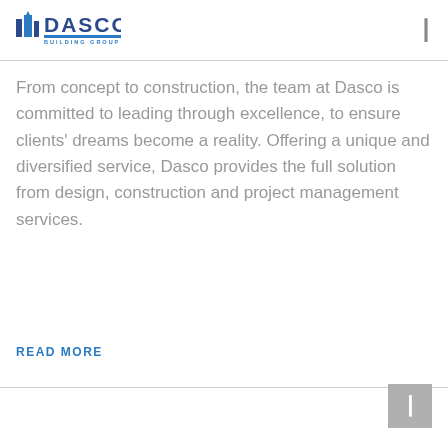[Figure (logo): Dasco Building Group logo with blue text and horizontal bar]
From concept to construction, the team at Dasco is committed to leading through excellence, to ensure clients' dreams become a reality. Offering a unique and diversified service, Dasco provides the full solution from design, construction and project management services.
READ MORE